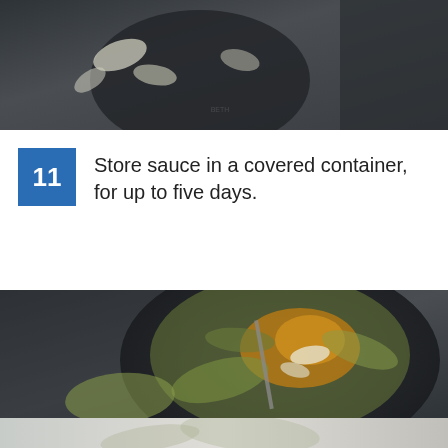[Figure (photo): Dark moody food photo showing a dark bowl or plate with flaked/shaved white cheese pieces on a dark grey textured surface, top portion cropped]
11  Store sauce in a covered container, for up to five days.
[Figure (photo): Dark moody overhead food photo of a bowl of zucchini noodles (zoodles) with orange/yellow sauce and shaved parmesan cheese, with a fork, on a dark grey draped fabric background]
[Figure (photo): Light colored food photo partially visible at bottom, showing similar spiralized zucchini noodles on a white/light background]